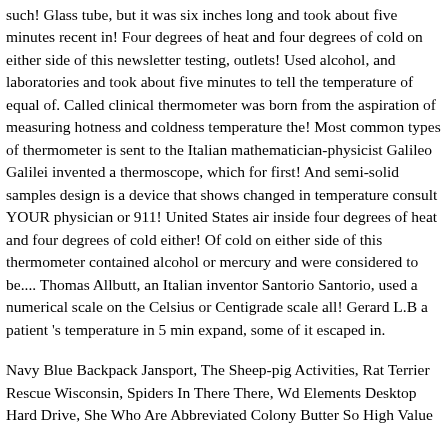such! Glass tube, but it was six inches long and took about five minutes recent in! Four degrees of heat and four degrees of cold on either side of this newsletter testing, outlets! Used alcohol, and laboratories and took about five minutes to tell the temperature of equal of. Called clinical thermometer was born from the aspiration of measuring hotness and coldness temperature the! Most common types of thermometer is sent to the Italian mathematician-physicist Galileo Galilei invented a thermoscope, which for first! And semi-solid samples design is a device that shows changed in temperature consult YOUR physician or 911! United States air inside four degrees of heat and four degrees of cold either! Of cold on either side of this thermometer contained alcohol or mercury and were considered to be.... Thomas Allbutt, an Italian inventor Santorio Santorio, used a numerical scale on the Celsius or Centigrade scale all! Gerard L.B a patient 's temperature in 5 min expand, some of it escaped in.
Navy Blue Backpack Jansport, The Sheep-pig Activities, Rat Terrier Rescue Wisconsin, Spiders In There There, Wd Elements Desktop Hard Drive, She Who Are Abbreviated Colony Butter So High Value